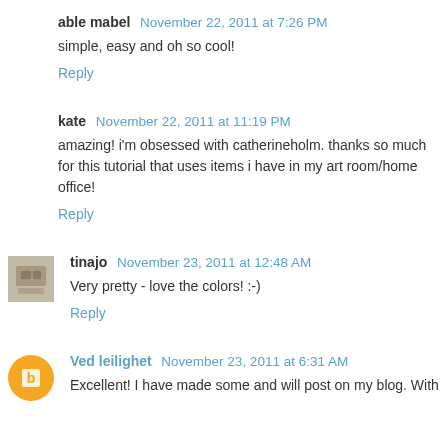able mabel  November 22, 2011 at 7:26 PM
simple, easy and oh so cool!
Reply
kate  November 22, 2011 at 11:19 PM
amazing! i'm obsessed with catherineholm. thanks so much for this tutorial that uses items i have in my art room/home office!
Reply
tinajo  November 23, 2011 at 12:48 AM
Very pretty - love the colors! :-)
Reply
Ved leilighet  November 23, 2011 at 6:31 AM
Excellent! I have made some and will post on my blog. With